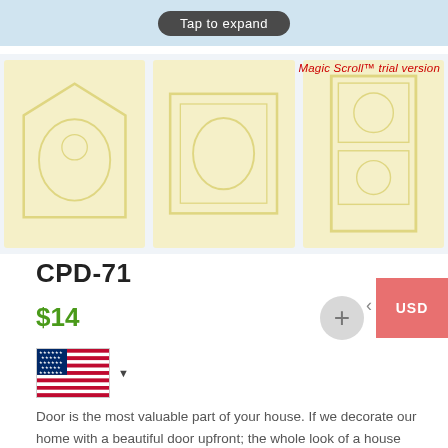[Figure (screenshot): Top banner with 'Tap to expand' button on light blue background]
[Figure (photo): Three thumbnail images of decorative door panels in cream/yellow color on light blue background]
Magic Scroll™ trial version
CPD-71
$14
[Figure (illustration): US flag with dropdown arrow for currency/region selection]
Door is the most valuable part of your house. If we decorate our home with a beautiful door upfront; the whole look of a house changes. Door designs are done in Solid wood like – Burma teak, Ctg. Shegun, Mahogany, Gamary etc.